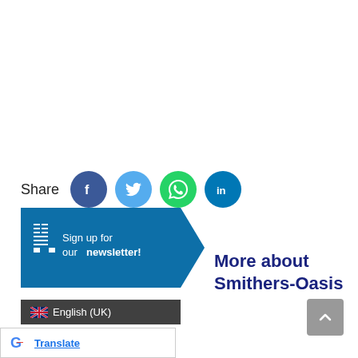Share
[Figure (infographic): Row of social media share icons: Facebook (dark blue circle with f), Twitter (light blue circle with bird), WhatsApp (green circle with phone), LinkedIn (dark teal circle with in)]
[Figure (infographic): Newsletter sign-up button shaped like an arrow/chevron in dark blue, with a newsletter icon and text: Sign up for our newsletter!]
More about Smithers-Oasis
[Figure (infographic): Google Translate bar with Google G logo and Translate link]
English (UK)
[Figure (infographic): Scroll-to-top button (grey rounded square with up arrow)]